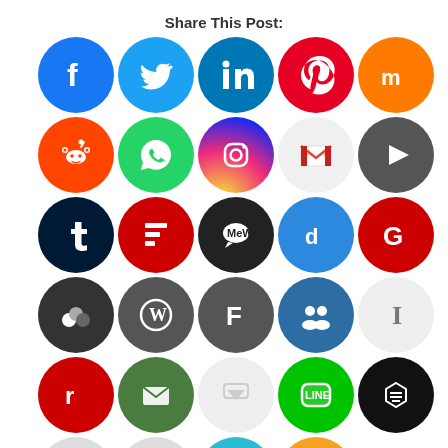Share This Post:
[Figure (infographic): Grid of social media sharing icons including Facebook, Twitter, LinkedIn, Pinterest, Mix, Reddit, WhatsApp, Instagram, Gmail, and many others arranged in rows of circular buttons.]